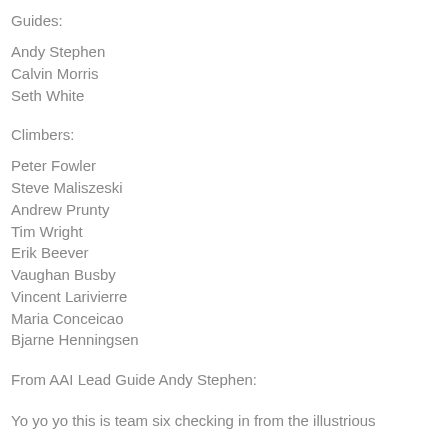Guides:
Andy Stephen
Calvin Morris
Seth White
Climbers:
Peter Fowler
Steve Maliszeski
Andrew Prunty
Tim Wright
Erik Beever
Vaughan Busby
Vincent Larivierre
Maria Conceicao
Bjarne Henningsen
From AAI Lead Guide Andy Stephen:
Yo yo yo this is team six checking in from the illustrious